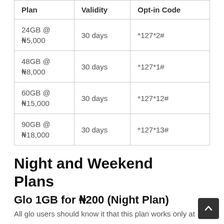| Plan | Validity | Opt-in Code |
| --- | --- | --- |
| 24GB @ ₦5,000 | 30 days | *127*2# |
| 48GB @ ₦8,000 | 30 days | *127*1# |
| 60GB @ ₦15,000 | 30 days | *127*12# |
| 90GB @ ₦18,000 | 30 days | *127*13# |
Night and Weekend Plans
Glo 1GB for ₦200 (Night Plan)
All glo users should know it that this plan works only at